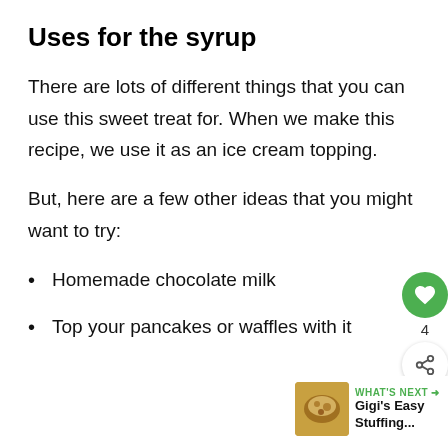Uses for the syrup
There are lots of different things that you can use this sweet treat for. When we make this recipe, we use it as an ice cream topping.
But, here are a few other ideas that you might want to try:
Homemade chocolate milk
Top your pancakes or waffles with it